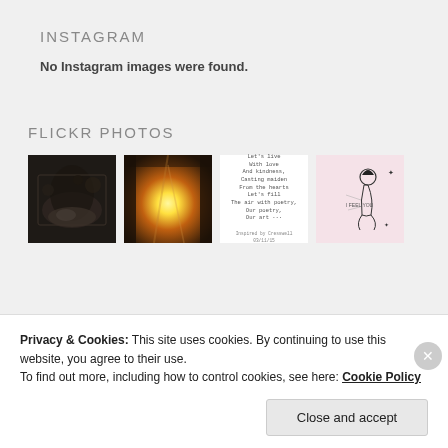INSTAGRAM
No Instagram images were found.
FLICKR PHOTOS
[Figure (photo): Four Flickr photo thumbnails: 1) A dark moody painting of a figure, 2) A bright light through foliage, 3) A poem text on white background, 4) An illustration of a figure with tattoo-style art on pink background]
Privacy & Cookies: This site uses cookies. By continuing to use this website, you agree to their use.
To find out more, including how to control cookies, see here: Cookie Policy
Close and accept